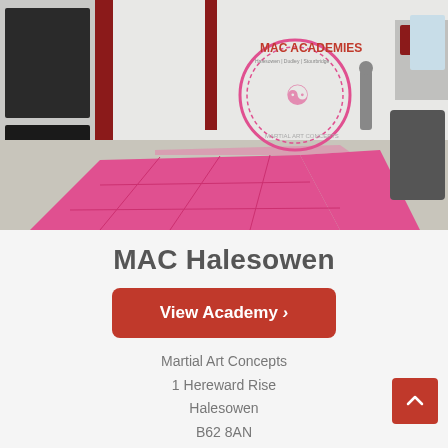[Figure (photo): Interior of MAC Halesowen martial arts gym showing pink training mats on the floor, equipment on the walls, red support columns, and a MAC Academies / Martial Art Concepts logo on the far wall.]
MAC Halesowen
View Academy ›
Martial Art Concepts
1 Hereward Rise
Halesowen
B62 8AN
View on Map
Call: 0121 585 8534